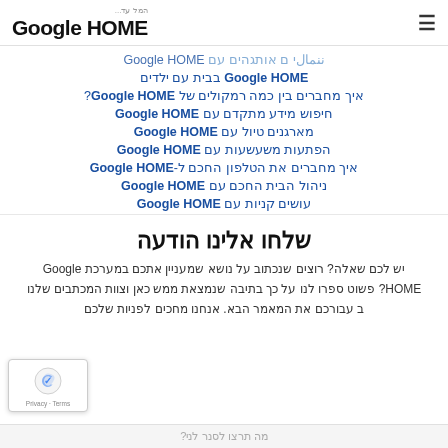Google HOME המל עד...
ننمالي ם אותגהים עם Google HOME
Google HOME בבית עם ילדים
איך מחברים בין כמה רמקולים של Google HOME?
חיפוש מידע מתקדם עם Google HOME
מארגנים טיול עם Google HOME
הפתעות משעשעות עם Google HOME
איך מחברים את הטלפון החכם ל-Google HOME
ניהול הבית החכם עם Google HOME
עושים קניות עם Google HOME
שלחו אלינו הודעה
יש לכם שאלה? רוצים שנכתוב על נושא שמעניין אתכם במערכת Google HOME? פשוט ספרו לנו על כך בתיבה שנמצאת ממש כאן וצוות המכתבים שלנו ב עבורכם את המאמר הבא. אנחנו מחכים לפניות שלכם